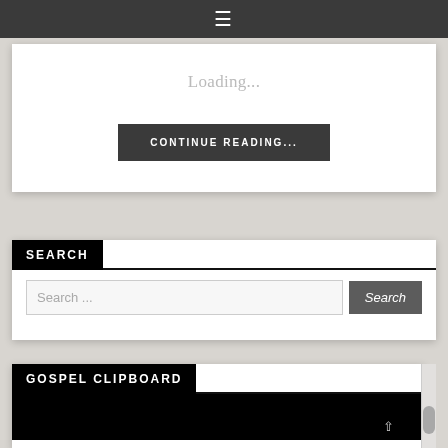[Figure (screenshot): Dark top navigation bar with hamburger menu icon (three horizontal lines) centered]
Loading...
CONTINUE READING...
SEARCH
Search ...
Search
GOSPEL CLIPBOARD
[Figure (photo): Black image/video embed area under Gospel Clipboard section]